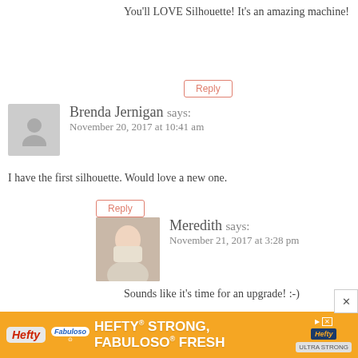You'll LOVE Silhouette! It's an amazing machine!
Reply
Brenda Jernigan says:
November 20, 2017 at 10:41 am
I have the first silhouette. Would love a new one.
Reply
Meredith says:
November 21, 2017 at 3:28 pm
Sounds like it's time for an upgrade! :-)
Reply
Mat Couto says:
November 20, 2017 at 10:57 am
What a wonderful opportunity! Good luck to everyon
[Figure (infographic): Hefty advertisement banner: HEFTY STRONG, FABULOSO FRESH in orange background]